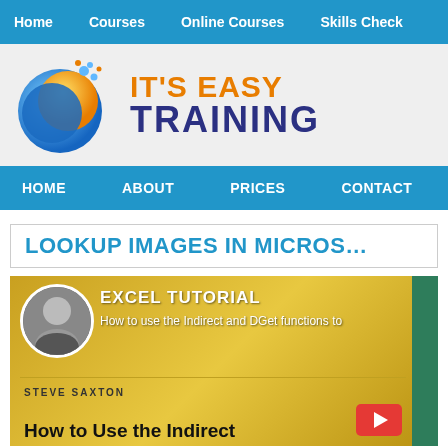Home | Courses | Online Courses | Skills Check
[Figure (logo): It's Easy Training logo with blue/yellow globe and orange/navy text]
HOME | ABOUT | PRICES | CONTACT
LOOKUP IMAGES IN MICROS...
[Figure (screenshot): Excel Tutorial video thumbnail showing Steve Saxton profile photo and book cover with text 'How to Use the Indirect and DGet functions to lookup images' with red YouTube play button]